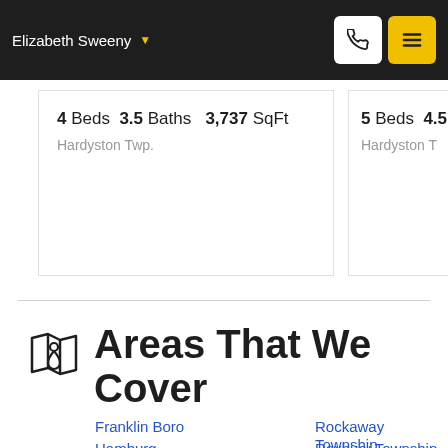Elizabeth Sweeny
4 Beds 3.5 Baths 3,737 SqFt
Hardyston Twp.
5 Beds 4.5 Baths
Hardyston T...
Areas That We Cover
Franklin Boro
Rockaway Township
Hamburg
Roxbury Township